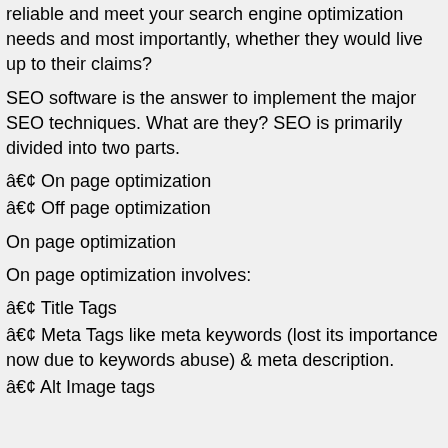reliable and meet your search engine optimization needs and most importantly, whether they would live up to their claims?
SEO software is the answer to implement the major SEO techniques. What are they? SEO is primarily divided into two parts.
• On page optimization
• Off page optimization
On page optimization
On page optimization involves:
• Title Tags
• Meta Tags like meta keywords (lost its importance now due to keywords abuse) & meta description.
• Alt Image tags